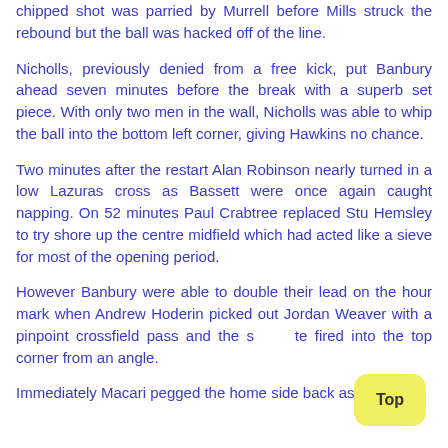chipped shot was parried by Murrell before Mills struck the rebound but the ball was hacked off of the line.
Nicholls, previously denied from a free kick, put Banbury ahead seven minutes before the break with a superb set piece. With only two men in the wall, Nicholls was able to whip the ball into the bottom left corner, giving Hawkins no chance.
Two minutes after the restart Alan Robinson nearly turned in a low Lazuras cross as Bassett were once again caught napping. On 52 minutes Paul Crabtree replaced Stu Hemsley to try shore up the centre midfield which had acted like a sieve for most of the opening period.
However Banbury were able to double their lead on the hour mark when Andrew Hoderin picked out Jordan Weaver with a pinpoint crossfield pass and the striker fired into the top corner from an angle.
Immediately Macari pegged the home side back as he cut...